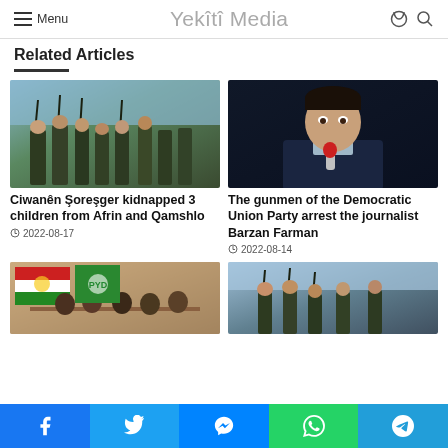Menu | Yekîtî Media
Related Articles
Ciwanên Şoreşger kidnapped 3 children from Afrin and Qamshlo
2022-08-17
The gunmen of the Democratic Union Party arrest the journalist Barzan Farman
2022-08-14